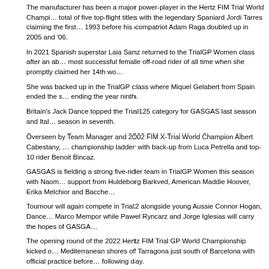The manufacturer has been a major power-player in the Hertz FIM Trial World Championship winning a total of five top-flight titles with the legendary Spaniard Jordi Tarres claiming the first three between 1987 and 1993 before his compatriot Adam Raga doubled up in 2005 and '06.
In 2021 Spanish superstar Laia Sanz returned to the TrialGP Women class after an absence to become the most successful female off-road rider of all time when she promptly claimed her 14th world title.
She was backed up in the TrialGP class where Miquel Gelabert from Spain ended the season in ninth.
Britain's Jack Dance topped the Trial125 category for GASGAS last season and Italy's... season in seventh.
Overseen by Team Manager and 2002 FIM X-Trial World Champion Albert Cabestany, ... championship ladder with back-up from Luca Petrella and top-10 rider Benoit Bincaz.
GASGAS is fielding a strong five-rider team in TrialGP Women this season with Naomi... support from Huldeborg Barkved, American Maddie Hoover, Erika Melchior and Bacche...
Tournour will again compete in Trial2 alongside young Aussie Connor Hogan, Dance... Marco Mempor while Pawel Ryncarz and Jorge Iglesias will carry the hopes of GASGA...
The opening round of the 2022 Hertz FIM Trial GP World Championship kicked off on the Mediterranean shores of Tarragona just south of Barcelona with official practice before... following day.
For regular updates check out our social media platforms on Facebook, Twitter and Inst...
info and photo by media@trialgp.c0m
--------------------------------------------------------------------------------
accordo FIM-GAS GAS e un nuovo telaio per la GAS GAS
(dal comunicato stampa FIM)